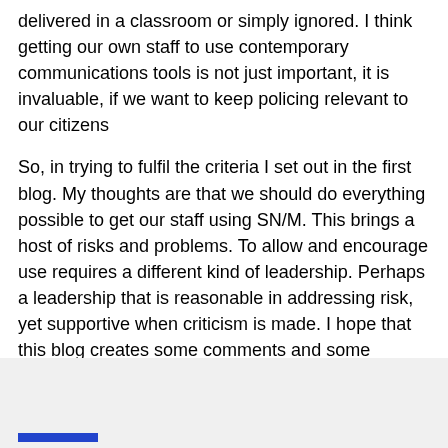delivered in a classroom or simply ignored. I think getting our own staff to use contemporary communications tools is not just important, it is invaluable, if we want to keep policing relevant to our citizens
So, in trying to fulfil the criteria I set out in the first blog. My thoughts are that we should do everything possible to get our staff using SN/M. This brings a host of risks and problems. To allow and encourage use requires a different kind of leadership. Perhaps a leadership that is reasonable in addressing risk, yet supportive when criticism is made. I hope that this blog creates some comments and some response.
If you want to respond, just do it.
Thanks for reading this